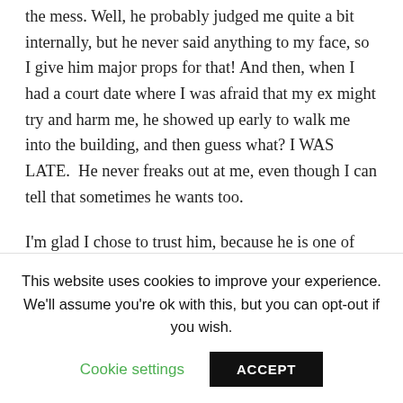the mess. Well, he probably judged me quite a bit internally, but he never said anything to my face, so I give him major props for that! And then, when I had a court date where I was afraid that my ex might try and harm me, he showed up early to walk me into the building, and then guess what? I WAS LATE.  He never freaks out at me, even though I can tell that sometimes he wants too.

I'm glad I chose to trust him, because he is one of the few people in my life who have done anything for me without an ulterior, self serving, motive. I know just how much money was lost on my case by him eating the costs when he knew I couldn't pay for it. I know that he has shown up for court time
This website uses cookies to improve your experience. We'll assume you're ok with this, but you can opt-out if you wish.
Cookie settings
ACCEPT